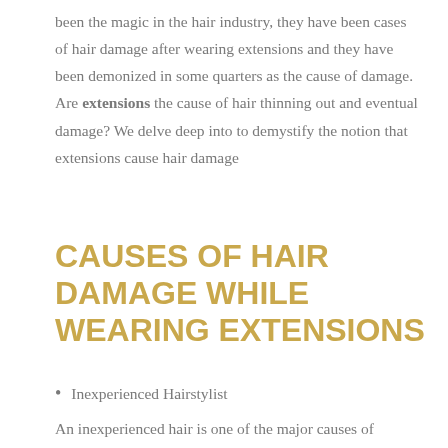been the magic in the hair industry, they have been cases of hair damage after wearing extensions and they have been demonized in some quarters as the cause of damage. Are extensions the cause of hair thinning out and eventual damage? We delve deep into to demystify the notion that extensions cause hair damage
CAUSES OF HAIR DAMAGE WHILE WEARING EXTENSIONS
Inexperienced Hairstylist
An inexperienced hair is one of the major causes of